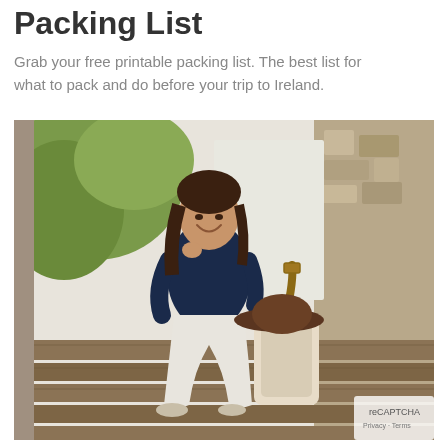Packing List
Grab your free printable packing list. The best list for what to pack and do before your trip to Ireland.
[Figure (photo): A smiling woman with dark hair sitting on stone steps outdoors, wearing a navy top and white pants, with a cream backpack and brown hat beside her. Stone pillars and greenery visible in the background.]